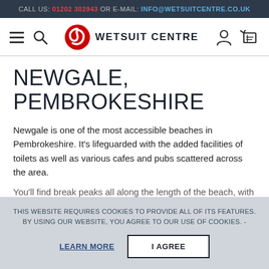CALL US: 01202 302943 OR E-MAIL: INFO@WETSUITCENTRE.CO.UK
[Figure (logo): Wetsuit Centre logo with red swirl icon and bold uppercase text WETSUIT CENTRE, flanked by hamburger menu, search, user and cart icons]
NEWGALE, PEMBROKESHIRE
Newgale is one of the most accessible beaches in Pembrokeshire. It's lifeguarded with the added facilities of toilets as well as various cafes and pubs scattered across the area.
You'll find break peaks all along the length of the beach, with
THIS WEBSITE REQUIRES COOKIES TO PROVIDE ALL OF ITS FEATURES. BY USING OUR WEBSITE, YOU AGREE TO OUR USE OF COOKIES. -